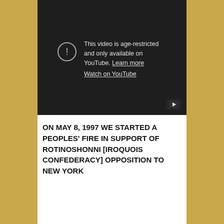[Figure (screenshot): YouTube video player showing age-restriction message: 'This video is age-restricted and only available on YouTube. Learn more / Watch on YouTube'. A language selector showing English with UK flag is visible in the top right. A play button icon appears in the bottom right corner of the player.]
ON MAY 8, 1997 WE STARTED A PEOPLES' FIRE IN SUPPORT OF ROTINOSHONNI [IROQUOIS CONFEDERACY] OPPOSITION TO NEW YORK